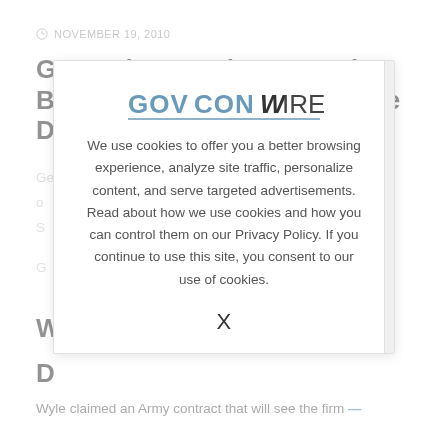NOVEMBER 19, 2010
General Dynamics IT Books Billion-Dollar Missile Defense Deal
General Dynamics Information Technology (NYSE: GD) was...
...o...
S...
[Figure (logo): GovConWire logo — GOVCON in blue/gray block letters with WIRE in bold black]
We use cookies to offer you a better browsing experience, analyze site traffic, personalize content, and serve targeted advertisements. Read about how we use cookies and how you can control them on our Privacy Policy. If you continue to use this site, you consent to our use of cookies.
X
G...
W
D
Wyle claimed an Army contract that will see the firm —